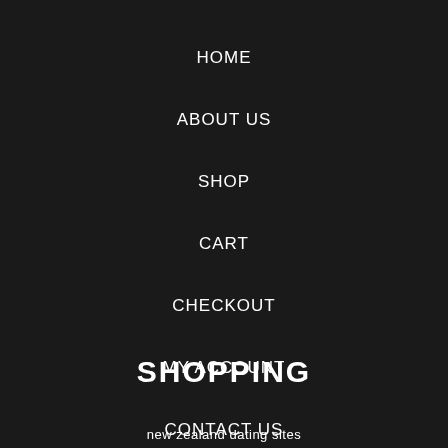HOME
ABOUT US
SHOP
CART
CHECKOUT
MY ACCOUNT
CONTACT US
SHOPPING
new zealand dating sites